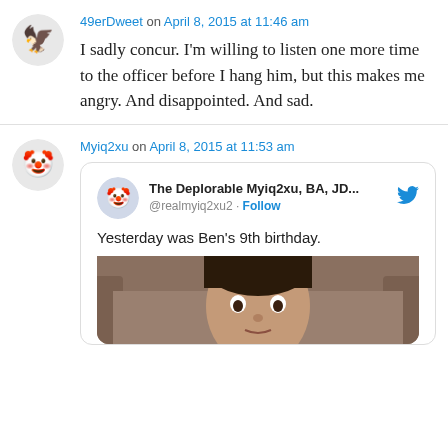49erDweet on April 8, 2015 at 11:46 am
I sadly concur. I'm willing to listen one more time to the officer before I hang him, but this makes me angry. And disappointed. And sad.
Myiq2xu on April 8, 2015 at 11:53 am
[Figure (screenshot): Embedded tweet from @realmyiq2xu2 (The Deplorable Myiq2xu, BA, JD...) with text 'Yesterday was Ben's 9th birthday.' and a photo of a young boy.]